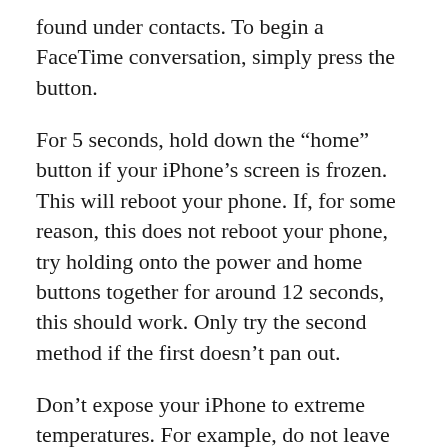found under contacts. To begin a FaceTime conversation, simply press the button.
For 5 seconds, hold down the “home” button if your iPhone’s screen is frozen. This will reboot your phone. If, for some reason, this does not reboot your phone, try holding onto the power and home buttons together for around 12 seconds, this should work. Only try the second method if the first doesn’t pan out.
Don’t expose your iPhone to extreme temperatures. For example, do not leave your phone in your car on either a hot or cold day. As with any other electronic device, water can form inside the phone when the